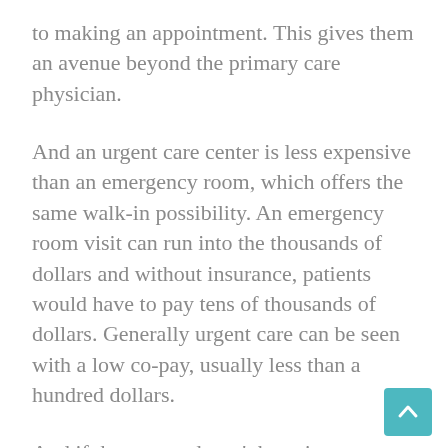to making an appointment. This gives them an avenue beyond the primary care physician.
And an urgent care center is less expensive than an emergency room, which offers the same walk-in possibility. An emergency room visit can run into the thousands of dollars and without insurance, patients would have to pay tens of thousands of dollars. Generally urgent care can be seen with a low co-pay, usually less than a hundred dollars.
And if the person doesn’t have insurance, the cost doesn’t rise into the thousands. Generally, it stays in the several hundred dollar range.
This makes sense, as urgent care centers are not equipped to handle life-threatening conditions and don’t have the equipment of a hospital. However, they do handle serious illnesses and minor illnesses, for which